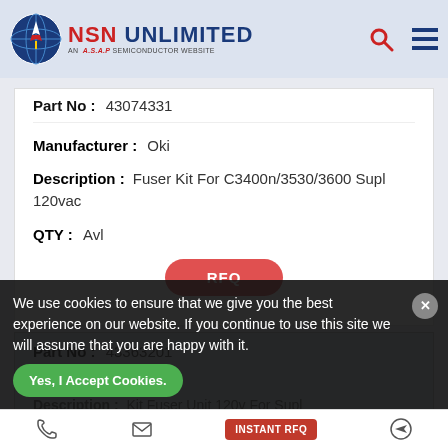NSN UNLIMITED - AN A.S.A.P SEMICONDUCTOR WEBSITE
Part No: 43074331
Manufacturer: Oki
Description: Fuser Kit For C3400n/3530/3600 Supl 120vac
QTY: Avl
RFQ
Part No: 43363201
Manufacturer: Oki
Description: Kit Fuser Unit 120v For Supl
We use cookies to ensure that we give you the best experience on our website. If you continue to use this site we will assume that you are happy with it.
Yes, I Accept Cookies.
INSTANT RFQ